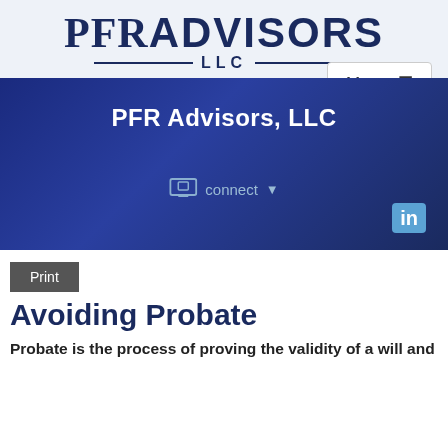[Figure (logo): PFR ADVISORS LLC logo in navy blue with serif/sans-serif mixed typography and horizontal lines flanking LLC]
[Figure (screenshot): Menu button with hamburger icon in top right of header]
PFR Advisors, LLC
[Figure (screenshot): Connect dropdown button with monitor icon and LinkedIn 'in' icon on blue banner background]
Print
Avoiding Probate
Probate is the process of proving the validity of a will and